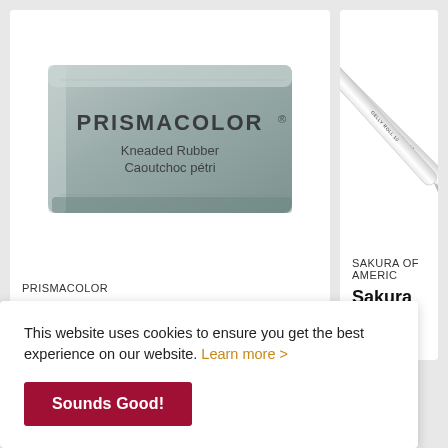[Figure (photo): Prismacolor Kneaded Rubber eraser product photo on white background]
PRISMACOLOR
Prismacolor Kneaded Eraser
[Figure (photo): Sakura Gelly Roll pen product photo on white background, partially cropped]
SAKURA OF AMERIC
Sakura Gelly Roll P
This website uses cookies to ensure you get the best experience on our website. Learn more >
Sounds Good!